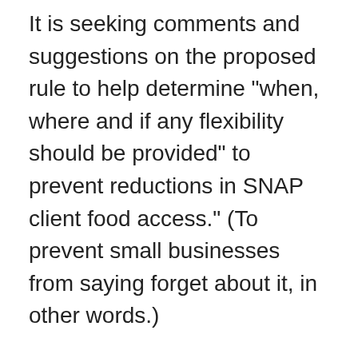It is seeking comments and suggestions on the proposed rule to help determine "when, where and if any flexibility should be provided" to prevent reductions in SNAP client food access." (To prevent small businesses from saying forget about it, in other words.)
More than 260,000 retailers nationwide are currently authorized to redeem SNAP benefits.
The proposed rule also "underscores